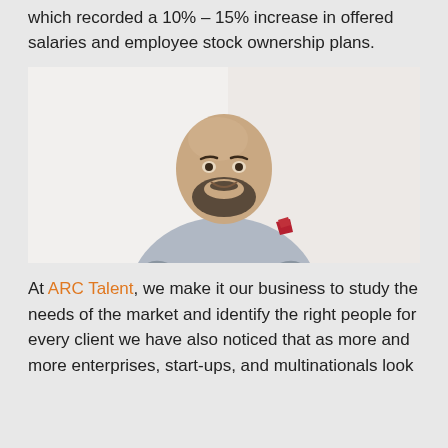which recorded a 10% – 15% increase in offered salaries and employee stock ownership plans.
[Figure (photo): Professional headshot of a bald man with a beard, smiling, wearing a grey checked blazer with a white shirt and red pocket square, against a white/light background.]
At ARC Talent, we make it our business to study the needs of the market and identify the right people for every client we have also noticed that as more and more enterprises, start-ups, and multinationals look